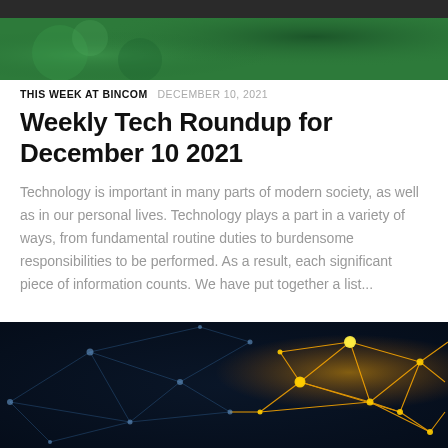[Figure (photo): Green banner/header image for Bincom website]
THIS WEEK AT BINCOM  DECEMBER 10, 2021
Weekly Tech Roundup for December 10 2021
Technology is important in many parts of modern society, as well as in our personal lives. Technology plays a part in a variety of ways, from fundamental routine duties to burdensome responsibilities to be performed. As a result, each significant piece of information counts. We have put together a list...
[Figure (photo): Dark photo of a network of glowing connected nodes on dark background, with orange/yellow highlighted cluster on the right side]